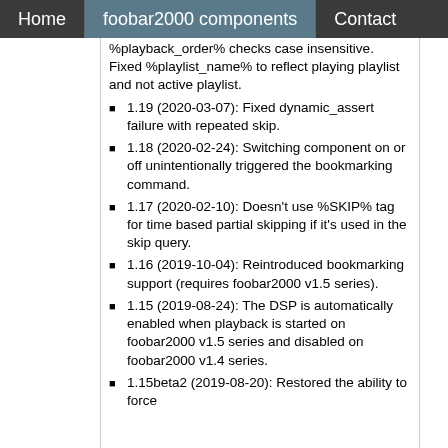Home  foobar2000 components  Contact
%playback_order% checks case insensitive. Fixed %playlist_name% to reflect playing playlist and not active playlist.
1.19 (2020-03-07): Fixed dynamic_assert failure with repeated skip.
1.18 (2020-02-24): Switching component on or off unintentionally triggered the bookmarking command.
1.17 (2020-02-10): Doesn't use %SKIP% tag for time based partial skipping if it's used in the skip query.
1.16 (2019-10-04): Reintroduced bookmarking support (requires foobar2000 v1.5 series).
1.15 (2019-08-24): The DSP is automatically enabled when playback is started on foobar2000 v1.5 series and disabled on foobar2000 v1.4 series.
1.15beta2 (2019-08-20): Restored the ability to force